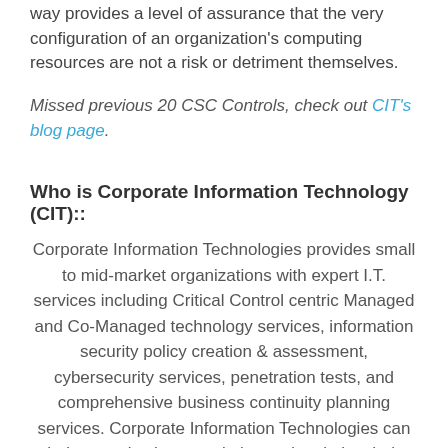way provides a level of assurance that the very configuration of an organization's computing resources are not a risk or detriment themselves.
Missed previous 20 CSC Controls, check out CIT's blog page.
Who is Corporate Information Technology (CIT):
Corporate Information Technologies provides small to mid-market organizations with expert I.T. services including Critical Control centric Managed and Co-Managed technology services, information security policy creation & assessment, cybersecurity services, penetration tests, and comprehensive business continuity planning services. Corporate Information Technologies can help organizations maximize and optimize their technology systems while identifying